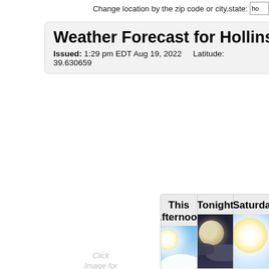Change location by the zip code or city,state:
Weather Forecast for Hollinslan
Issued: 1:29 pm EDT Aug 19, 2022    Latitude: 39.630659
Click Image for Detail Forecast
[Figure (infographic): Three weather forecast panels: This Afternoon (Partly Sunny, High 86°F), Tonight (Mostly Cloudy, Low 67°F), Saturday (Sunny, High 86°F, Low 67°F)]